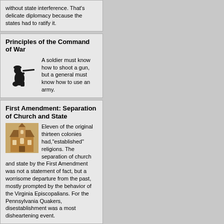without state interference. That's delicate diplomacy because the states had to ratify it.
Principles of the Command of War
[Figure (illustration): Black silhouette of a soldier kneeling and aiming a rifle]
A soldier must know how to shoot a gun, but a general must know how to use an army.
First Amendment: Separation of Church and State
[Figure (photo): Sepia-toned historical photograph of a church building]
Eleven of the original thirteen colonies had,"established" religions. The separation of church and state by the First Amendment was not a statement of fact, but a worrisome departure from the past, mostly prompted by the behavior of the Virginia Episcopalians. For the Pennsylvania Quakers, disestablishment was a most disheartening event.
Mennonites: The Pennsylvania Swiss
[Figure (photo): Historical photograph related to Mennonites / Pennsylvania Swiss]